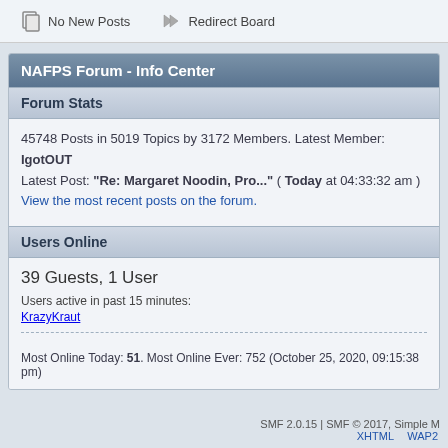No New Posts
Redirect Board
NAFPS Forum - Info Center
Forum Stats
45748 Posts in 5019 Topics by 3172 Members. Latest Member: IgotOUT
Latest Post: "Re: Margaret Noodin, Pro..." ( Today at 04:33:32 am )
View the most recent posts on the forum.
Users Online
39 Guests, 1 User
Users active in past 15 minutes:
KrazyKraut
Most Online Today: 51. Most Online Ever: 752 (October 25, 2020, 09:15:38 pm)
SMF 2.0.15 | SMF © 2017, Simple M
XHTML   WAP2